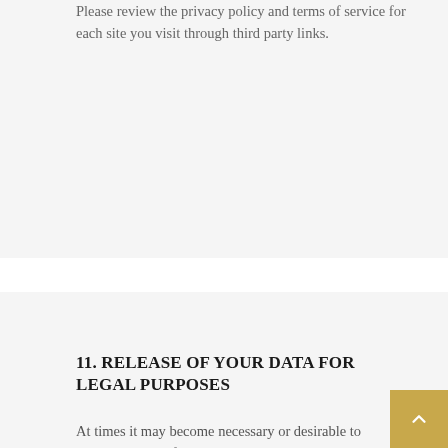Please review the privacy policy and terms of service for each site you visit through third party links.
11. RELEASE OF YOUR DATA FOR LEGAL PURPOSES
At times it may become necessary or desirable to AncoraThemes, for legal purposes, to release your information in response to a request from a government agency or a private litigant. You agree that we may disclose